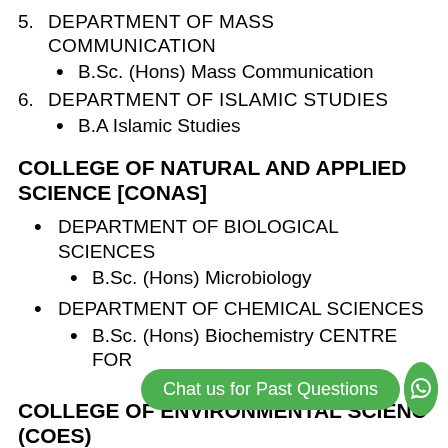5. DEPARTMENT OF MASS COMMUNICATION
B.Sc. (Hons) Mass Communication
6. DEPARTMENT OF ISLAMIC STUDIES
B.A Islamic Studies
COLLEGE OF NATURAL AND APPLIED SCIENCE [CONAS]
DEPARTMENT OF BIOLOGICAL SCIENCES
B.Sc. (Hons) Microbiology
DEPARTMENT OF CHEMICAL SCIENCES
B.Sc. (Hons) Biochemistry CENTRE FOR
Chat us for Past Questions
COLLEGE OF ENVIRONMENTAL SCIENCE (COES)